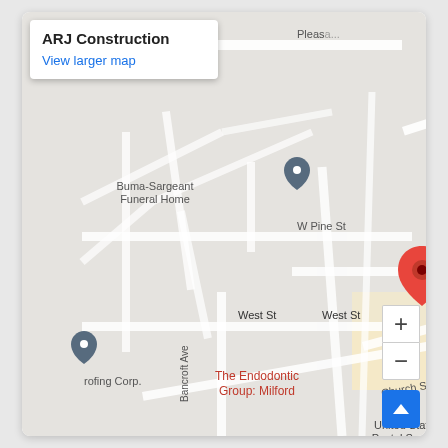[Figure (map): Google Maps screenshot showing ARJ Construction location in Milford. The map shows surrounding streets including W Pine St, Pine St, West St, Exchange St, Church St, Bancroft Ave, S Bow St, Main St. Nearby landmarks include Stacy School, Milford Town Library, Buma-Sargeant Funeral Home, 7-Eleven, Jan Carpe, United States Postal Service, JG Roofing Co., The Endodontic Group: Milford, Milford Package Store. A red pin marks ARJ Construction. Zoom in/out buttons and a blue scroll-to-top button are visible.]
ARJ Construction
View larger map